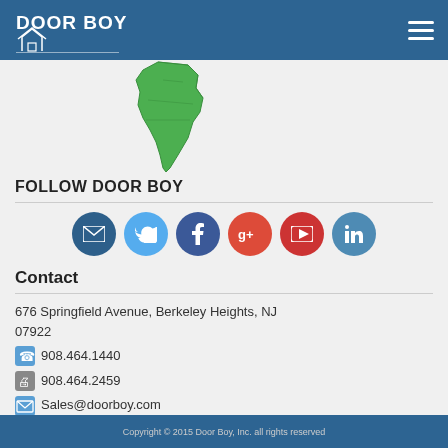[Figure (logo): Door Boy logo with house icon and green South America map shape below]
FOLLOW DOOR BOY
[Figure (infographic): Six social media icons in circles: email (dark blue), Twitter (light blue), Facebook (dark blue), Google+ (red), YouTube (red), LinkedIn (blue)]
Contact
676 Springfield Avenue, Berkeley Heights, NJ 07922
908.464.1440
908.464.2459
Sales@doorboy.com
See Map
Copyright © 2015 Door Boy, Inc. all rights reserved